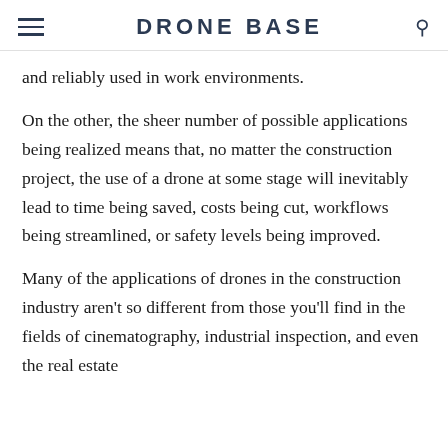DRONE BASE
and reliably used in work environments.
On the other, the sheer number of possible applications being realized means that, no matter the construction project, the use of a drone at some stage will inevitably lead to time being saved, costs being cut, workflows being streamlined, or safety levels being improved.
Many of the applications of drones in the construction industry aren’t so different from those you’ll find in the fields of cinematography, industrial inspection, and even the real estate business. First, some successful drone